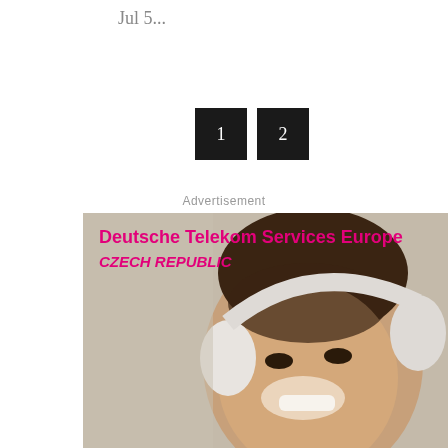Jul 5...
[Figure (other): Pagination buttons showing '1' and '2' as black squares]
Advertisement
[Figure (photo): Deutsche Telekom Services Europe Czech Republic advertisement banner featuring a smiling young woman wearing white headphones, with pink bold text overlay reading 'Deutsche Telekom Services Europe' and 'CZECH REPUBLIC']